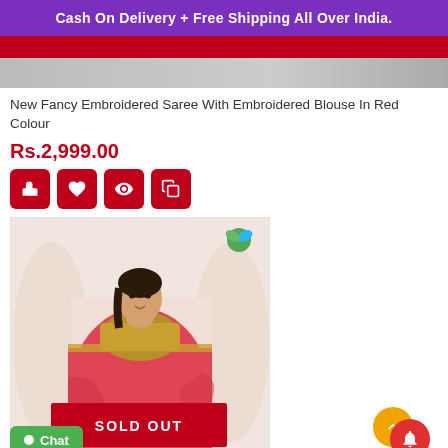Cash On Delivery + Free Shipping All Over India.
[Figure (photo): Top portion of a product image (partially visible, grey/neutral background)]
New Fancy Embroidered Saree With Embroidered Blouse In Red Colour
Rs.2,999.00
[Figure (illustration): Four red square action buttons: hand/touch icon, heart icon, eye icon, copy/share icon]
[Figure (photo): Woman wearing a red embroidered saree with a gold/green embroidered blouse, standing in a decorative indoor setting. A SOLD OUT overlay button appears at the bottom center of the image.]